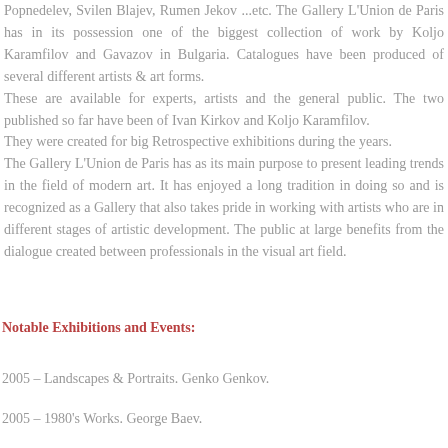Popnedelev, Svilen Blajev, Rumen Jekov ...etc. The Gallery L'Union de Paris has in its possession one of the biggest collection of work by Koljo Karamfilov and Gavazov in Bulgaria. Catalogues have been produced of several different artists & art forms. These are available for experts, artists and the general public. The two published so far have been of Ivan Kirkov and Koljo Karamfilov. They were created for big Retrospective exhibitions during the years. The Gallery L'Union de Paris has as its main purpose to present leading trends in the field of modern art. It has enjoyed a long tradition in doing so and is recognized as a Gallery that also takes pride in working with artists who are in different stages of artistic development. The public at large benefits from the dialogue created between professionals in the visual art field.
Notable Exhibitions and Events:
2005 – Landscapes & Portraits. Genko Genkov.
2005 – 1980's Works. George Baev.